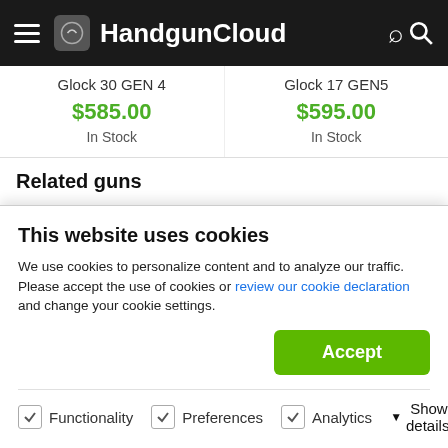HandgunCloud
Glock 30 GEN 4
$585.00
In Stock
Glock 17 GEN5
$595.00
In Stock
Related guns
[Figure (photo): Three handgun product images shown side by side: two full visible Glock pistols and a partial third on the right edge.]
This website uses cookies
We use cookies to personalize content and to analyze our traffic. Please accept the use of cookies or review our cookie declaration and change your cookie settings.
Accept
Functionality   Preferences   Analytics   Show details